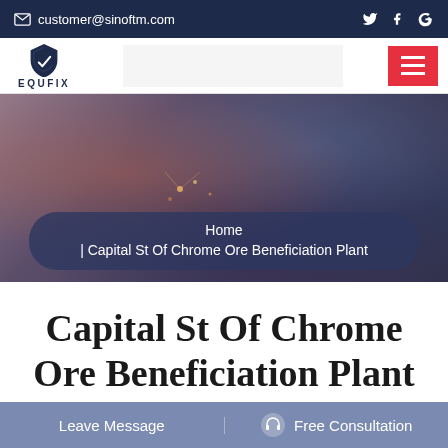customer@sinoftm.com
[Figure (screenshot): Website screenshot showing Equfix logo with shield emblem and a red hamburger menu button on white navigation bar]
[Figure (photo): Industrial/welding scene hero image with dark navy overlay showing sparks and industrial equipment]
Home | Capital St Of Chrome Ore Beneficiation Plant
Capital St Of Chrome Ore Beneficiation Plant
Leave Message   Free Consultation